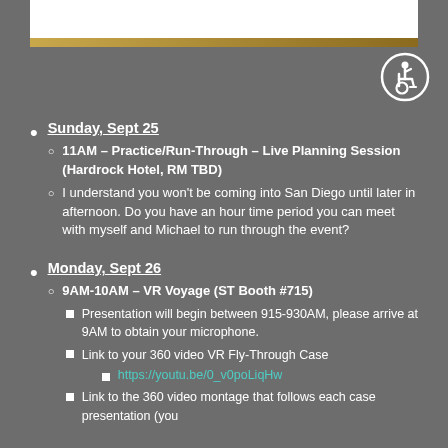[Figure (illustration): Top banner with person photo and gold/black bar]
Sunday, Sept 25
  - 11AM – Practice/Run-Through – Live Planning Session (Hardrock Hotel, RM TBD)
  - I understand you won't be coming into San Diego until later in afternoon.  Do you have an hour time period you can meet with myself and Michael to run through the event?
Monday, Sept 26
  - 9AM-10AM – VR Voyage (ST Booth #715)
    - Presentation will begin between 915-930AM, please arrive at 9AM to obtain your microphone.
    - Link to your 360 video VR Fly-Through Case
      - https://youtu.be/0_v0poLiqHw
    - Link to the 360 video montage that follows each case presentation (you